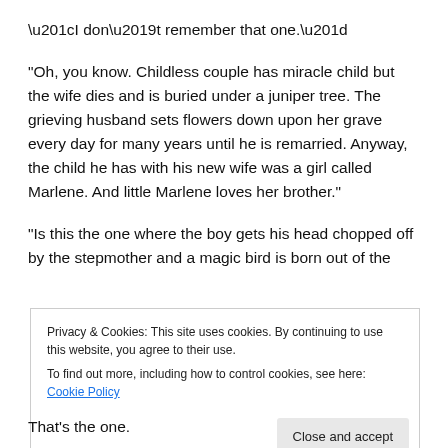“I don’t remember that one.”
“Oh, you know. Childless couple has miracle child but the wife dies and is buried under a juniper tree. The grieving husband sets flowers down upon her grave every day for many years until he is remarried. Anyway, the child he has with his new wife was a girl called Marlene. And little Marlene loves her brother.”
“Is this the one where the boy gets his head chopped off by the stepmother and a magic bird is born out of the
Privacy & Cookies: This site uses cookies. By continuing to use this website, you agree to their use.
To find out more, including how to control cookies, see here: Cookie Policy
That’s the one.